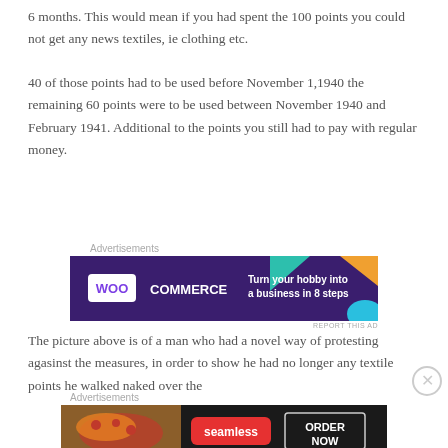6 months. This would mean if you had spent the 100 points you could not get any news textiles, ie clothing etc.
40 of those points had to be used before November 1,1940 the remaining 60 points were to be used between November 1940 and February 1941. Additional to the points you still had to pay with regular money.
Advertisements
[Figure (other): WooCommerce advertisement banner: Turn your hobby into a business in 8 steps]
The picture above is of a man who had a novel way of protesting agasinst the measures, in order to show he had no longer any textile points he walked naked over the
Advertisements
[Figure (other): Seamless food delivery advertisement banner: ORDER NOW]